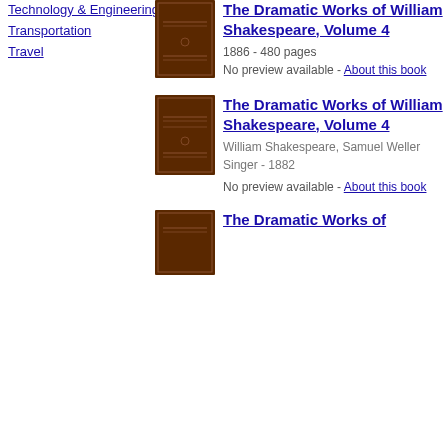Technology & Engineering
Transportation
Travel
[Figure (illustration): Brown book cover thumbnail for The Dramatic Works of William Shakespeare Volume 4 (first entry)]
The Dramatic Works of William Shakespeare, Volume 4
1886 - 480 pages
No preview available - About this book
[Figure (illustration): Brown book cover thumbnail for The Dramatic Works of William Shakespeare Volume 4 (second entry)]
The Dramatic Works of William Shakespeare, Volume 4
William Shakespeare, Samuel Weller Singer - 1882
No preview available - About this book
[Figure (illustration): Brown book cover thumbnail for The Dramatic Works of William Shakespeare (third entry, partial)]
The Dramatic Works of